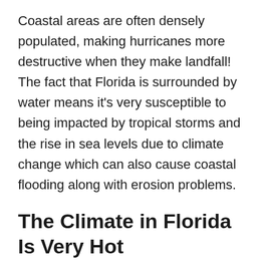Coastal areas are often densely populated, making hurricanes more destructive when they make landfall! The fact that Florida is surrounded by water means it's very susceptible to being impacted by tropical storms and the rise in sea levels due to climate change which can also cause coastal flooding along with erosion problems.
The Climate in Florida Is Very Hot
The weather in Florida can vary depending on where you are. In general, the northern and